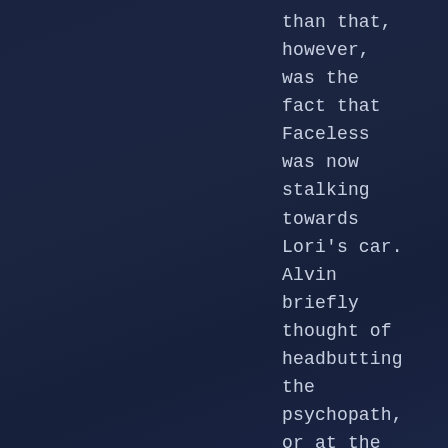than that, however, was the fact that Faceless was now stalking towards Lori's car. Alvin briefly thought of headbutting the psychopath, or at the very least- -- The door was flung